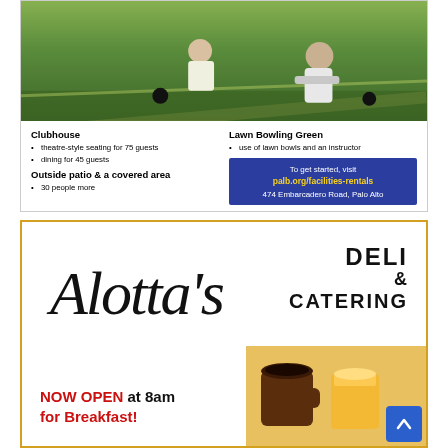[Figure (photo): Two people playing lawn bowling on a green outdoor court, one person bent forward mid-throw with a black ball. Green and yellow striped lawn visible.]
Clubhouse
theatre-style seating for 75 guests
dining for 45 guests
Outside patio & a covered area
30 people more
Lawn Bowling Green
use of lawn bowls and an instructor
To get started, visit palb.org/facilities-rentals 474 Embarcadero Road, Palo Alto
[Figure (logo): Alotta's Deli & Catering logo with cursive script 'Alotta's' and bold text 'DELI & CATERING']
NOW OPEN at 8am for Breakfast!
[Figure (photo): Coffee cup and orange juice glass on a warm background]